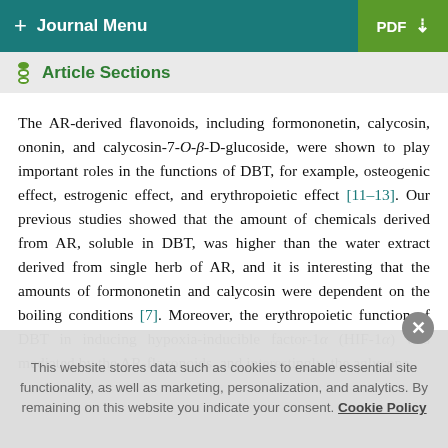+ Journal Menu   PDF ↓
Article Sections
The AR-derived flavonoids, including formononetin, calycosin, ononin, and calycosin-7-O-β-D-glucoside, were shown to play important roles in the functions of DBT, for example, osteogenic effect, estrogenic effect, and erythropoietic effect [11–13]. Our previous studies showed that the amount of chemicals derived from AR, soluble in DBT, was higher than the water extract derived from single herb of AR, and it is interesting that the amounts of formononetin and calycosin were dependent on the boiling conditions [7]. Moreover, the erythropoietic function of DBT in inducing hypoxia-inducible factor-1α (HIF-1α) was mediated by the AR-flavonoids, and interestingly, the aglycone
This website stores data such as cookies to enable essential site functionality, as well as marketing, personalization, and analytics. By remaining on this website you indicate your consent. Cookie Policy